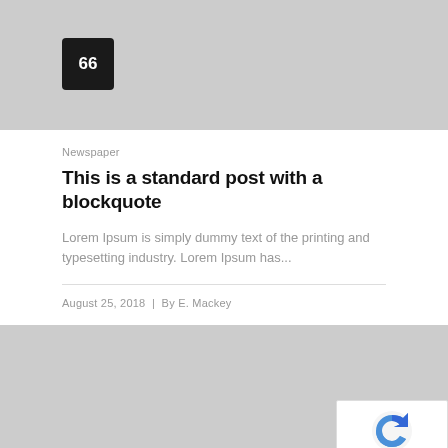[Figure (other): Gray placeholder image block with page number badge showing '66' in a dark rounded square]
Newspaper
This is a standard post with a blockquote
Lorem Ipsum is simply dummy text of the printing and typesetting industry. Lorem Ipsum has...
August 25, 2018  |  By E. Mackey
[Figure (other): Gray placeholder image block at bottom of page with reCAPTCHA privacy badge in bottom right corner]